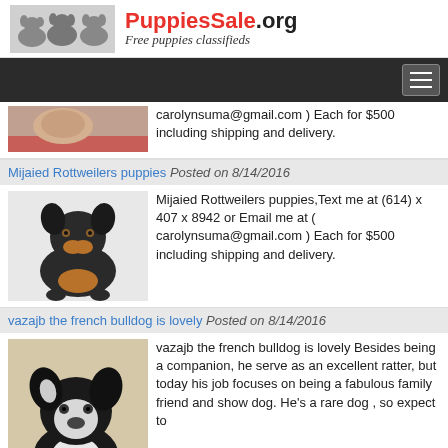[Figure (logo): PuppiesSale.org website header with three dachshund puppy photos and site name 'PuppiesSale.org - Free puppies classifieds']
[Figure (screenshot): Dark navigation bar with hamburger menu icon on the right]
carolynsuma@gmail.com ) Each for $500 including shipping and delivery.
Mijaied Rottweilers puppies Posted on 8/14/2016
[Figure (photo): Black and tan Rottweiler puppy sitting against white background]
Mijaied Rottweilers puppies,Text me at (614) x 407 x 8942 or Email me at ( carolynsuma@gmail.com ) Each for $500 including shipping and delivery.
vazajb the french bulldog is lovely Posted on 8/14/2016
[Figure (photo): Black and white French bulldog sitting, facing camera]
vazajb the french bulldog is lovely Besides being a companion, he serve as an excellent ratter, but today his job focuses on being a fabulous family friend and show dog. He's a rare dog , so expect to